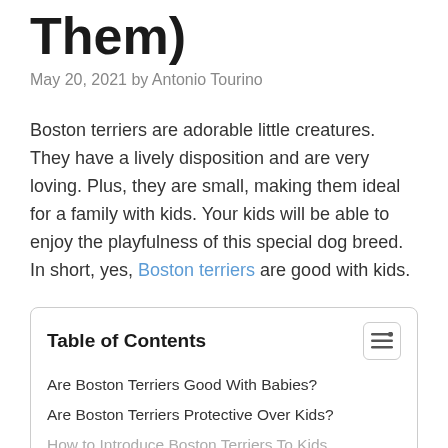Them)
May 20, 2021 by Antonio Tourino
Boston terriers are adorable little creatures. They have a lively disposition and are very loving. Plus, they are small, making them ideal for a family with kids. Your kids will be able to enjoy the playfulness of this special dog breed. In short, yes, Boston terriers are good with kids.
Table of Contents
Are Boston Terriers Good With Babies?
Are Boston Terriers Protective Over Kids?
How to Introduce Boston Terriers To Kids
How To Train Your Boston Terrier To Be Around